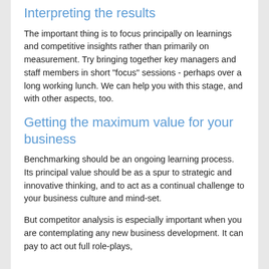Interpreting the results
The important thing is to focus principally on learnings and competitive insights rather than primarily on measurement. Try bringing together key managers and staff members in short "focus" sessions - perhaps over a long working lunch. We can help you with this stage, and with other aspects, too.
Getting the maximum value for your business
Benchmarking should be an ongoing learning process. Its principal value should be as a spur to strategic and innovative thinking, and to act as a continual challenge to your business culture and mind-set.
But competitor analysis is especially important when you are contemplating any new business development. It can pay to act out full role-plays,